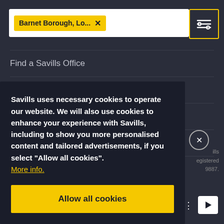[Figure (screenshot): Search bar with yellow tag 'Barnet Borough, Lo...' and X close button]
[Figure (other): Filter/settings icon button with yellow border]
Find a Savills Office
Find a Savills Employee
Careers with Savills
Investor Relations
Savills uses necessary cookies to operate our website. We will also use cookies to enhance your experience with Savills, including to show you more personalised content and tailored advertisements, if you select “Allow all cookies”. More info.
Allow all cookies